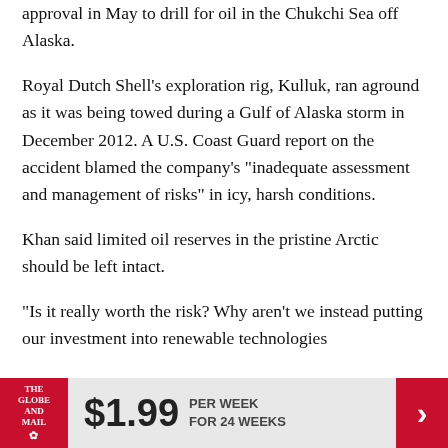approval in May to drill for oil in the Chukchi Sea off Alaska.
Royal Dutch Shell's exploration rig, Kulluk, ran aground as it was being towed during a Gulf of Alaska storm in December 2012. A U.S. Coast Guard report on the accident blamed the company's "inadequate assessment and management of risks" in icy, harsh conditions.
Khan said limited oil reserves in the pristine Arctic should be left intact.
"Is it really worth the risk? Why aren't we instead putting our investment into renewable technologies
[Figure (other): The Globe and Mail advertisement banner: $1.99 per week for 24 weeks]